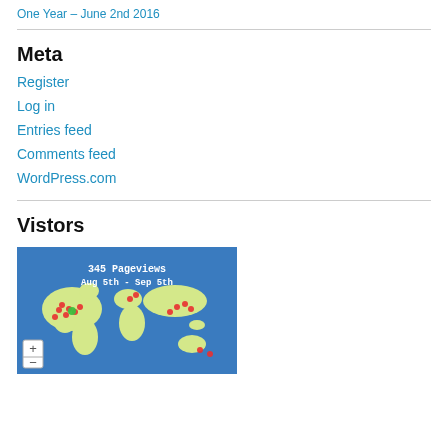One Year – June 2nd 2016
Meta
Register
Log in
Entries feed
Comments feed
WordPress.com
Vistors
[Figure (map): World map showing visitor locations with red and green dots. Text overlay reads: 345 Pageviews Aug 5th – Sep 5th. Zoom +/- controls in bottom left.]